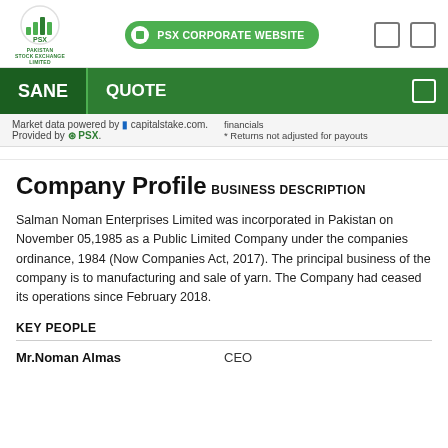[Figure (logo): PSX Pakistan Stock Exchange Limited logo with green bar chart icon]
PSX CORPORATE WEBSITE
SANE  QUOTE
Market data powered by capitalstake.com.
Provided by PSX.
financials
* Returns not adjusted for payouts
Company Profile
BUSINESS DESCRIPTION
Salman Noman Enterprises Limited was incorporated in Pakistan on November 05,1985 as a Public Limited Company under the companies ordinance, 1984 (Now Companies Act, 2017). The principal business of the company is to manufacturing and sale of yarn. The Company had ceased its operations since February 2018.
KEY PEOPLE
| Name | Role |
| --- | --- |
| Mr.Noman Almas | CEO |